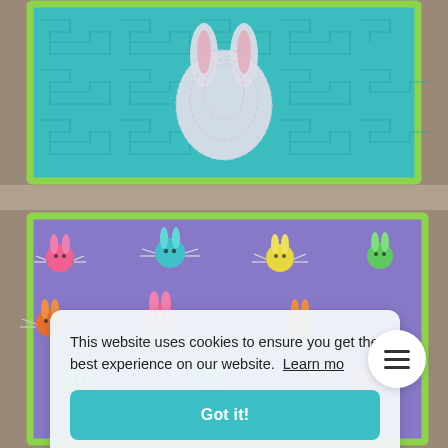[Figure (photo): Top portion of a teal/turquoise quilted table runner with a white bunny silhouette in the center and a lime green border, photographed on a gray carpet background.]
[Figure (photo): Bottom portion of a quilted table runner with purple fabric featuring colorful cartoon bunny head print pattern with lime green border, on gray carpet. Partially obscured by cookie consent banner.]
This website uses cookies to ensure you get the best experience on our website.  Learn mo
Got it!